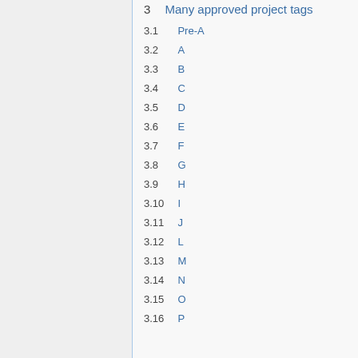3  Many approved project tags
3.1  Pre-A
3.2  A
3.3  B
3.4  C
3.5  D
3.6  E
3.7  F
3.8  G
3.9  H
3.10  I
3.11  J
3.12  L
3.13  M
3.14  N
3.15  O
3.16  P